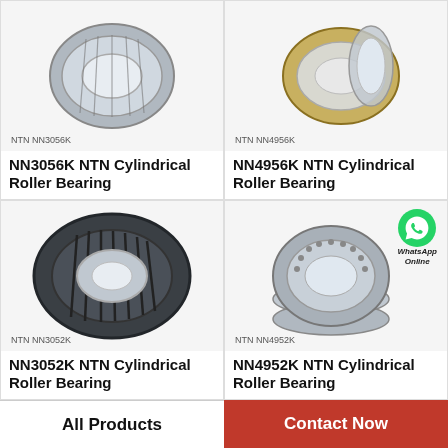[Figure (photo): NTN NN3056K cylindrical roller bearing, single bearing viewed from front angle, metallic silver color]
NTN NN3056K
NN3056K NTN Cylindrical Roller Bearing
[Figure (photo): NTN NN4956K cylindrical roller bearing components including rings, gold/silver colored]
NTN NN4956K
NN4956K NTN Cylindrical Roller Bearing
[Figure (photo): NTN NN3052K cylindrical roller bearing, large dark gray bearing viewed from front]
NTN NN3052K
NN3052K NTN Cylindrical Roller Bearing
[Figure (photo): NTN NN4952K cylindrical roller bearing set stacked, with WhatsApp Online overlay badge]
NTN NN4952K
NN4952K NTN Cylindrical Roller Bearing
All Products
Contact Now